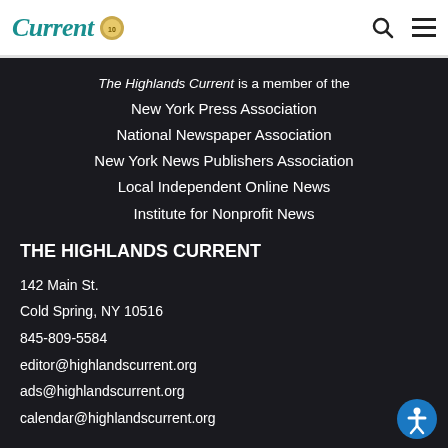The Highlands Current [logo]
The Highlands Current is a member of the New York Press Association National Newspaper Association New York News Publishers Association Local Independent Online News Institute for Nonprofit News
THE HIGHLANDS CURRENT
142 Main St.
Cold Spring, NY 10516
845-809-5584
editor@highlandscurrent.org
ads@highlandscurrent.org
calendar@highlandscurrent.org